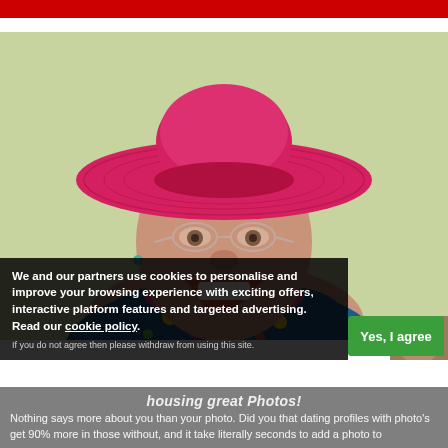[Figure (photo): Elderly woman laughing and wearing a large pink/red straw hat with glasses and a floral shirt, photographed outdoors against a light green background.]
We and our partners use cookies to personalise and improve your browsing experience with exciting offers, interactive platform features and targeted advertising. Read our cookie policy.
If you do not agree then please withdraw from using this site.
housing great Photos! Nothing says more about you than your photo. Did you that dating profiles with photo's get 90% more in those without, and it take literally seconds to add a photo to